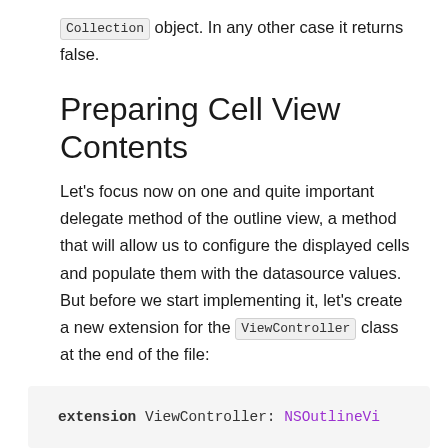Collection object. In any other case it returns false.
Preparing Cell View Contents
Let's focus now on one and quite important delegate method of the outline view, a method that will allow us to configure the displayed cells and populate them with the datasource values. But before we start implementing it, let's create a new extension for the ViewController class at the end of the file:
extension ViewController: NSOutlineVi